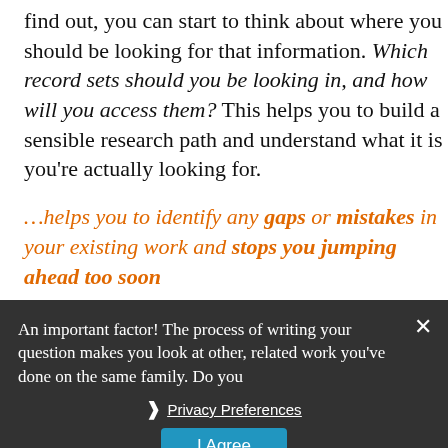find out, you can start to think about where you should be looking for that information. Which record sets should you be looking in, and how will you access them? This helps you to build a sensible research path and understand what it is you're actually looking for.
…helps you to identify any gaps or mistakes in your existing work and stops you jumping ahead too soon
An important factor! The process of writing your question makes you look at other, related work you've done on the same family. Do you